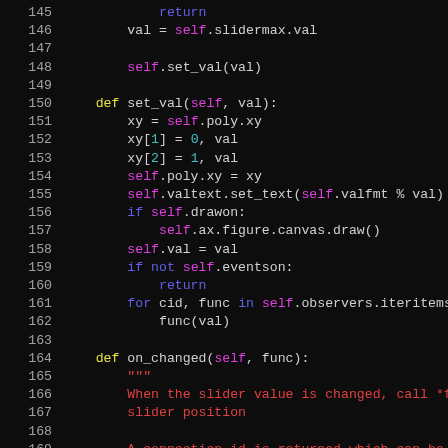[Figure (screenshot): Python source code editor showing lines 145-172 with syntax highlighting on dark background. Code implements set_val, on_changed methods of a slider widget class.]